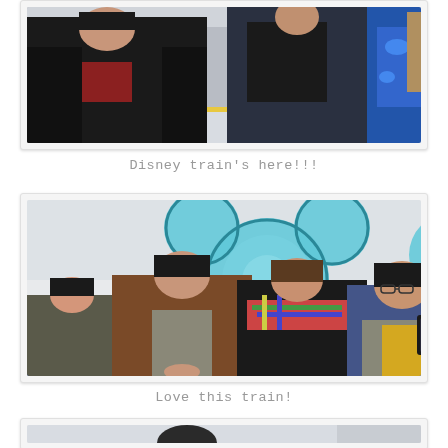[Figure (photo): People standing at a train station platform wearing winter jackets; a blue and gold Disney-themed train visible in background]
Disney train's here!!!
[Figure (photo): Five people sitting on blue seats inside a Disney-themed train with a large Mickey Mouse silhouette on the wall behind them]
Love this train!
[Figure (photo): Partial view of another photo at the bottom of the page, interior or exterior of train/station]